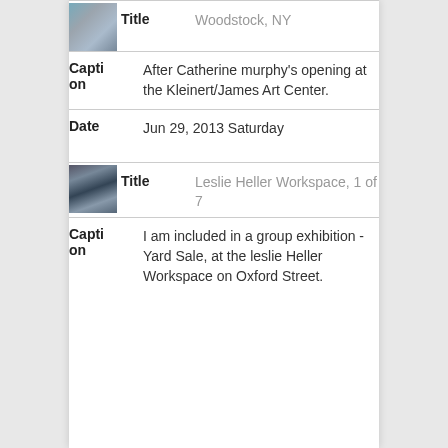Title: Woodstock, NY
After Catherine murphy's opening at the Kleinert/James Art Center.
Date: Jun 29, 2013 Saturday
Title: Leslie Heller Workspace, 1 of 7
I am included in a group exhibition - Yard Sale, at the leslie Heller Workspace on Oxford Street.